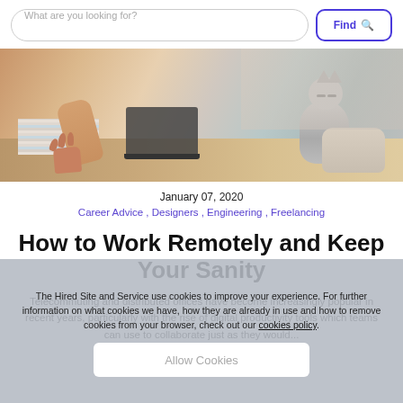What are you looking for?   Find
[Figure (photo): Person lying on a couch or floor with bare feet visible, a laptop, and a cat sitting nearby on the right side.]
January 07, 2020
Career Advice ,  Designers ,  Engineering ,  Freelancing
How to Work Remotely and Keep Your Sanity
Telecommuting and distributed offices have become increasingly popular in recent years, particularly with the rise of digital productivity tools which teams can use to collaborate just as they would...
The Hired Site and Service use cookies to improve your experience. For further information on what cookies we have, how they are already in use and how to remove cookies from your browser, check out our cookies policy.
Allow Cookies